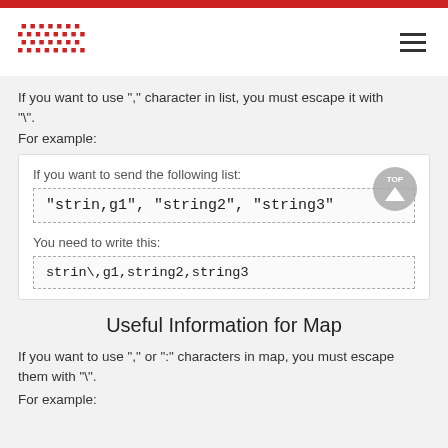If you want to use "," character in list, you must escape it with "\".
For example:
If you want to send the following list:
"strin,g1", "string2", "string3"
You need to write this:
strin\,g1,string2,string3
Useful Information for Map
If you want to use "," or ":" characters in map, you must escape them with "\".
For example: